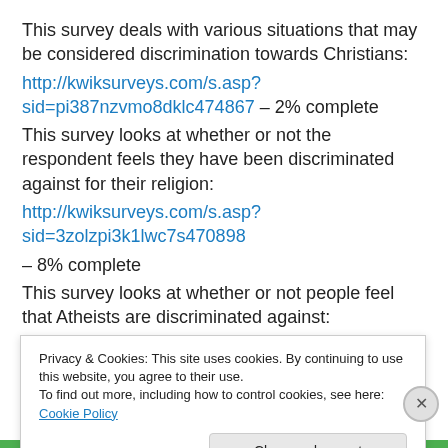This survey deals with various situations that may be considered discrimination towards Christians:
http://kwiksurveys.com/s.asp?sid=pi387nzvmo8dklc474867 – 2% complete
This survey looks at whether or not the respondent feels they have been discriminated against for their religion:
http://kwiksurveys.com/s.asp?sid=3zolzpi3k1lwc7s470898 – 8% complete
This survey looks at whether or not people feel that Atheists are discriminated against:
http://kwiksurveys.com/s.asp?
Privacy & Cookies: This site uses cookies. By continuing to use this website, you agree to their use.
To find out more, including how to control cookies, see here: Cookie Policy
Close and accept